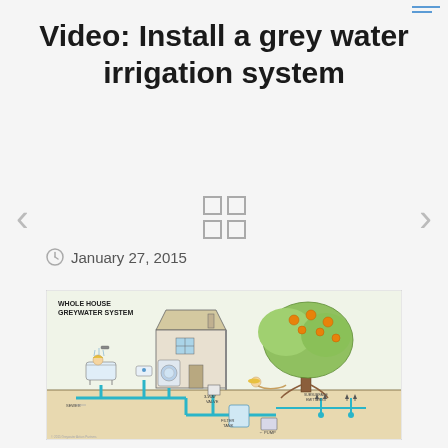Video: Install a grey water irrigation system
January 27, 2015
[Figure (illustration): Whole house greywater system diagram showing a house with a person bathing, a sink, a washing machine, pipes directing water to a diverter valve, filter tank, pump, and subsurface emitters under a large fruit tree outside.]